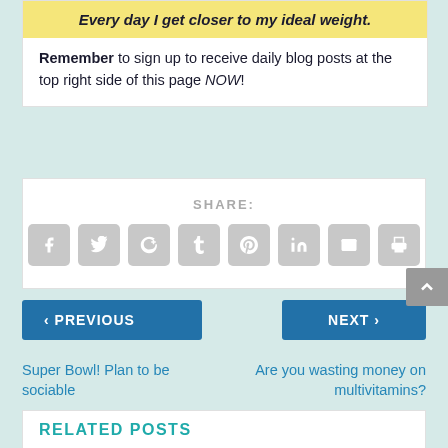Every day I get closer to my ideal weight.
Remember to sign up to receive daily blog posts at the top right side of this page NOW!
SHARE:
[Figure (other): Row of 8 social media share icon buttons (Facebook, Twitter, Google+, Tumblr, Pinterest, LinkedIn, Email, Print) in grey rounded squares]
< PREVIOUS
Super Bowl! Plan to be sociable
NEXT >
Are you wasting money on multivitamins?
RELATED POSTS